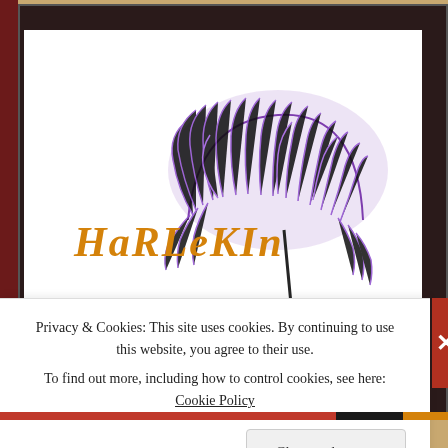[Figure (illustration): Illustrated character (Harlekin) wearing a colorful layered skirt and small brown beret, holding a large purple feathery/fuzzy umbrella. The illustration is digital art style on white background with decorative frame.]
HARLEKIN
skin
basis
Privacy & Cookies: This site uses cookies. By continuing to use this website, you agree to their use.
To find out more, including how to control cookies, see here: Cookie Policy
Close and accept